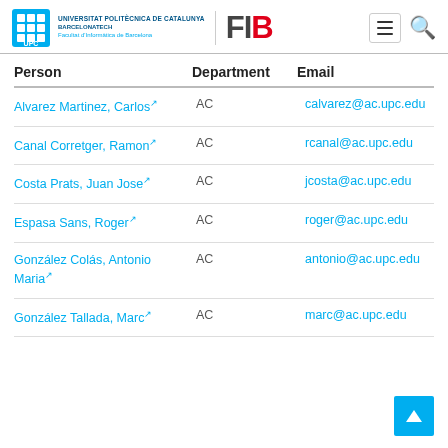Universitat Politècnica de Catalunya BarcelonaTech — Facultat d'Informàtica de Barcelona — FIB
| Person | Department | Email |
| --- | --- | --- |
| Alvarez Martinez, Carlos ↗ | AC | calvarez@ac.upc.edu |
| Canal Corretger, Ramon ↗ | AC | rcanal@ac.upc.edu |
| Costa Prats, Juan Jose ↗ | AC | jcosta@ac.upc.edu |
| Espasa Sans, Roger ↗ | AC | roger@ac.upc.edu |
| González Colás, Antonio Maria ↗ | AC | antonio@ac.upc.edu |
| González Tallada, Marc ↗ | AC | marc@ac.upc.edu |